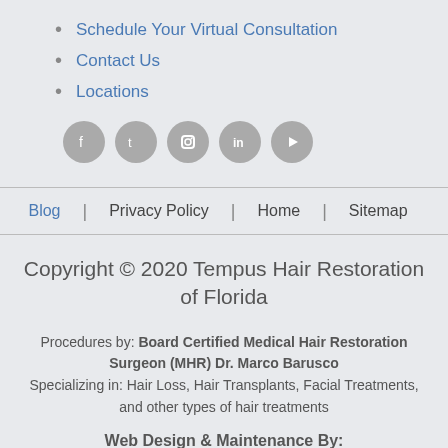Schedule Your Virtual Consultation
Contact Us
Locations
[Figure (illustration): Row of 5 circular gray social media icons: Facebook, Twitter, Instagram, LinkedIn, YouTube]
Blog | Privacy Policy | Home | Sitemap
Copyright © 2020 Tempus Hair Restoration of Florida
Procedures by: Board Certified Medical Hair Restoration Surgeon (MHR) Dr. Marco Barusco
Specializing in: Hair Loss, Hair Transplants, Facial Treatments, and other types of hair treatments
Web Design & Maintenance By: